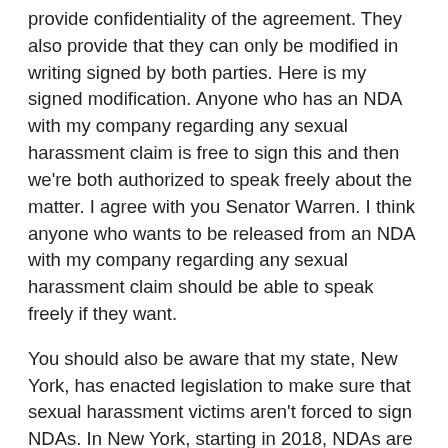provide confidentiality of the agreement. They also provide that they can only be modified in writing signed by both parties. Here is my signed modification. Anyone who has an NDA with my company regarding any sexual harassment claim is free to sign this and then we're both authorized to speak freely about the matter. I agree with you Senator Warren. I think anyone who wants to be released from an NDA with my company regarding any sexual harassment claim should be able to speak freely if they want.
You should also be aware that my state, New York, has enacted legislation to make sure that sexual harassment victims aren't forced to sign NDAs. In New York, starting in 2018, NDAs are not allowed if there are sexual harassment allegations unless the complainant is the one who requests it. I think that's a good law and I would support a similar law nationwide.
Here's why that would have been a great response: most complainants also don't want settlement agreements to be